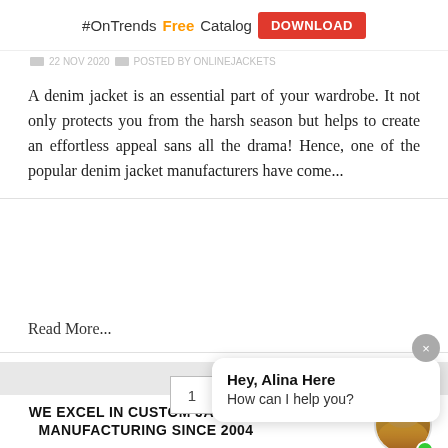#OnTrends Free Catalog DOWNLOAD
22 NOV 2020  POSTED BY ONLINEJACKETS
A denim jacket is an essential part of your wardrobe. It not only protects you from the harsh season but helps to create an effortless appeal sans all the drama! Hence, one of the popular denim jacket manufacturers have come...
Read More...
1  2  Next
Hey, Alina Here
How can I help you?
WE EXCEL IN CUSTOM JACKETS MANUFACTURING SINCE 2004